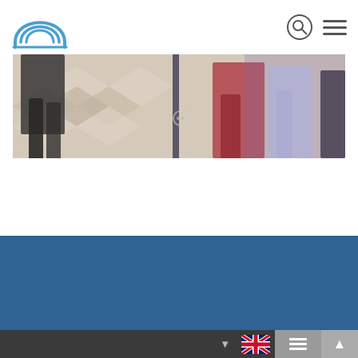[Figure (logo): Interkultur logo: blue arc/rainbow graphic with text INTERKULTUR in blue bold capitals]
[Figure (photo): Blurred motion photo of people's legs walking on a tiled floor, with colorful lighting — purple, red tones]
[Figure (other): Blue section background banner]
[Figure (other): Dark bottom navigation bar with dropdown arrow, UK flag, hamburger menu button, and up arrow button]